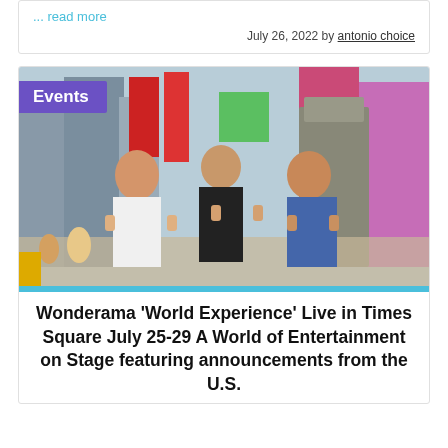... read more
July 26, 2022 by antonio choice
[Figure (photo): Three people posing with thumbs up in Times Square, New York City. A purple 'Events' badge overlays the top-left corner of the image. A cyan bar runs along the bottom edge of the photo.]
Wonderama ‘World Experience’ Live in Times Square July 25-29 A World of Entertainment on Stage featuring announcements from the U.S.